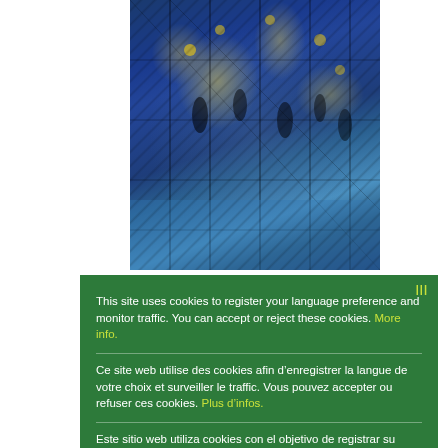[Figure (photo): EU building scaffolding with EU flag stars visible, blue tones, silhouettes of workers]
This site uses cookies to register your language preference and monitor traffic. You can accept or reject these cookies. More info.
Ce site web utilise des cookies afin d'enregistrer la langue de votre choix et surveiller le traffic. Vous pouvez accepter ou refuser ces cookies. Plus d'infos.
Este sitio web utiliza cookies con el objetivo de registrar su idioma preferido y controlar el tráfico. Puede aceptar o rechazar estas cookies. Mayor información.
Ok
[Figure (photo): Bottom portion of webpage visible below cookie dialog]